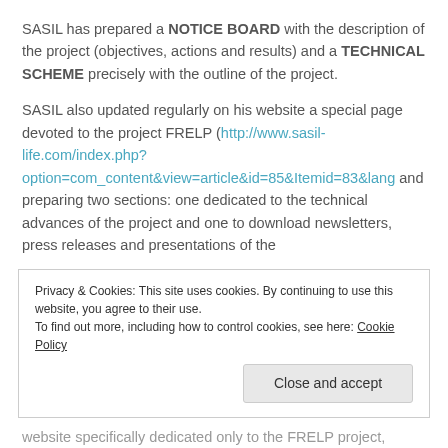SASIL has prepared a NOTICE BOARD with the description of the project (objectives, actions and results) and a TECHNICAL SCHEME precisely with the outline of the project.
SASIL also updated regularly on his website a special page devoted to the project FRELP (http://www.sasil-life.com/index.php?option=com_content&view=article&id=85&Itemid=83&lang and preparing two sections: one dedicated to the technical advances of the project and one to download newsletters, press releases and presentations of the
Privacy & Cookies: This site uses cookies. By continuing to use this website, you agree to their use.
To find out more, including how to control cookies, see here: Cookie Policy
website specifically dedicated only to the FRELP project,